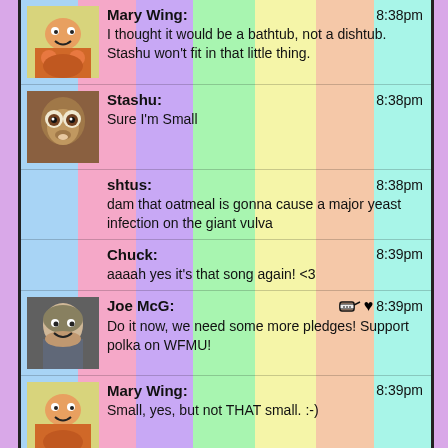Mary Wing: 8:38pm — I thought it would be a bathtub, not a dishtub. Stashu won't fit in that little thing.
Stashu: 8:38pm — Sure I'm Small
shtus: 8:38pm — dam that oatmeal is gonna cause a major yeast infection on the giant vulva
Chuck: 8:39pm — aaaah yes it's that song again! <3
Joe McG: 8:39pm — Do it now, we need some more pledges! Support polka on WFMU!
Mary Wing: 8:39pm — Small, yes, but not THAT small. :-)
Listener Robert: ♥ 8:40pm — Does she get up & dance like that every week w the headphones?
Mary Wing: 8:40pm